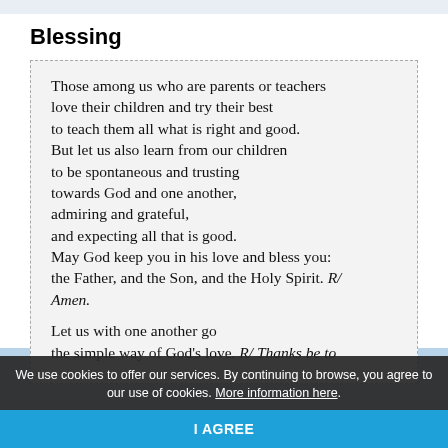Blessing
Those among us who are parents or teachers love their children and try their best to teach them all what is right and good. But let us also learn from our children to be spontaneous and trusting towards God and one another, admiring and grateful, and expecting all that is good. May God keep you in his love and bless you: the Father, and the Son, and the Holy Spirit. R/ Amen.

Let us with one another go the simple way of God's love. R/ Thanks be to
We use cookies to offer our services. By continuing to browse, you agree to our use of cookies. More information here.
I AGREE